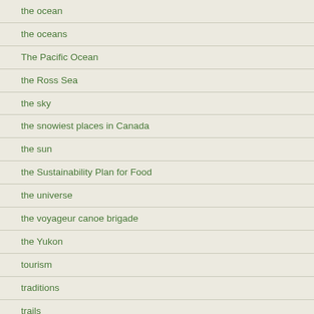the ocean
the oceans
The Pacific Ocean
the Ross Sea
the sky
the snowiest places in Canada
the sun
the Sustainability Plan for Food
the universe
the voyageur canoe brigade
the Yukon
tourism
traditions
trails
training